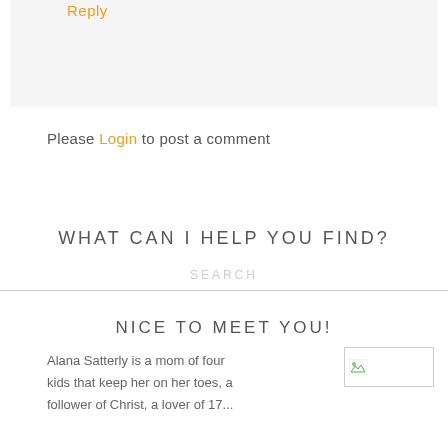Reply
Please Login to post a comment
WHAT CAN I HELP YOU FIND?
SEARCH
NICE TO MEET YOU!
Alana Satterly is a mom of four kids that keep her on her toes, a follower of Christ, a lover of 17...
[Figure (photo): Small thumbnail image with broken image icon]